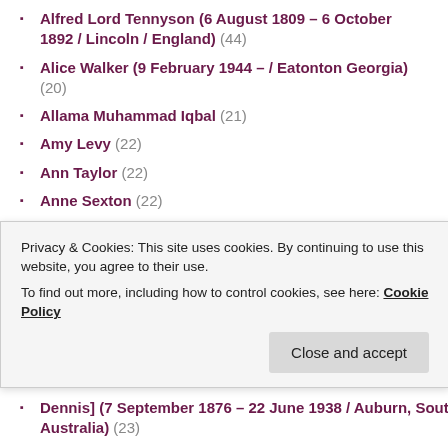Alfred Lord Tennyson (6 August 1809 – 6 October 1892 / Lincoln / England) (44)
Alice Walker (9 February 1944 – / Eatonton Georgia) (20)
Allama Muhammad Iqbal (21)
Amy Levy (22)
Ann Taylor (22)
Anne Sexton (22)
অ্যান্নো অর্থনীতিবিদ (14)
Banjo Paterson (20)
Bertolt Brecht (21)
Bhupi Sherchan (45)
Bill Knott (22)
Billy Collins (21)
Privacy & Cookies: This site uses cookies. By continuing to use this website, you agree to their use. To find out more, including how to control cookies, see here: Cookie Policy
Dennis] (7 September 1876 – 22 June 1938 / Auburn, South Australia) (23)